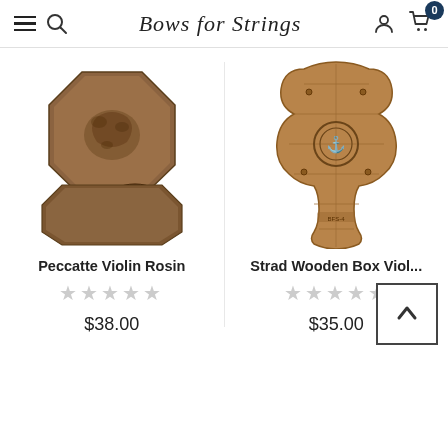Bows for Strings
[Figure (photo): Peccatte Violin Rosin product photo - octagonal wooden box with rosin puck]
Peccatte Violin Rosin
★★★★★ (empty stars rating)
$38.00
[Figure (photo): Strad Wooden Box Viol... product photo - violin-shaped wooden box]
Strad Wooden Box Viol...
★★★★★ (empty stars rating)
$35.00